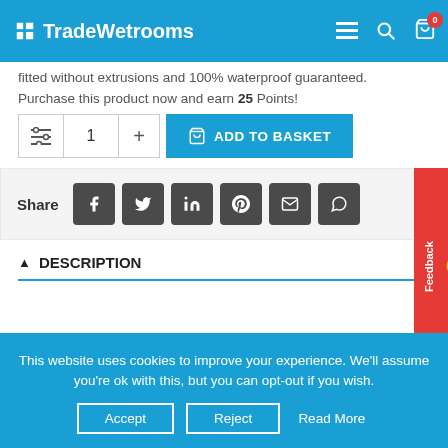TradeWetrooms
fitted without extrusions and 100% waterproof guaranteed.
Purchase this product now and earn 25 Points!
[Figure (screenshot): Quantity selector with filter icon, quantity 1, plus button, and ADD TO BASKET button in blue]
[Figure (screenshot): Share section with social icons: Facebook, Twitter, LinkedIn, Pinterest, Email, WhatsApp. Feedback tab on the right side.]
DESCRIPTION
This website uses cookies to improve your experience. We'll assume you're ok with this, but you can opt-out if you wish.
Accept  Reject  Read More